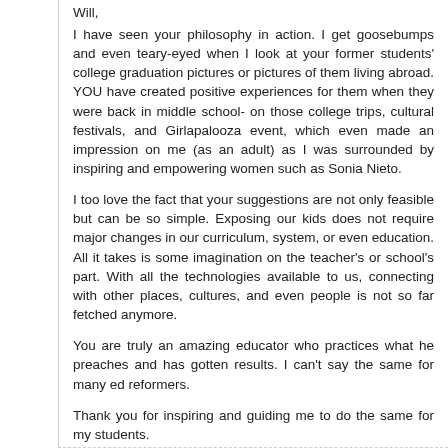Will,
I have seen your philosophy in action. I get goosebumps and even teary-eyed when I look at your former students' college graduation pictures or pictures of them living abroad. YOU have created positive experiences for them when they were back in middle school- on those college trips, cultural festivals, and Girlapalooza event, which even made an impression on me (as an adult) as I was surrounded by inspiring and empowering women such as Sonia Nieto.
I too love the fact that your suggestions are not only feasible but can be so simple. Exposing our kids does not require major changes in our curriculum, system, or even education. All it takes is some imagination on the teacher's or school's part. With all the technologies available to us, connecting with other places, cultures, and even people is not so far fetched anymore.
You are truly an amazing educator who practices what he preaches and has gotten results. I can't say the same for many ed reformers.
Thank you for inspiring and guiding me to do the same for my students.
Reply